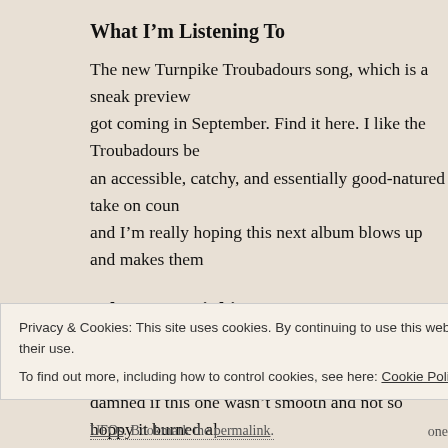What I'm Listening To
The new Turnpike Troubadours song, which is a sneak preview got coming in September. Find it here. I like the Troubadours be an accessible, catchy, and essentially good-natured take on coun and I'm really hoping this next album blows up and makes them
What I'm Drinking
A guest brought a bottle of this to our 4th of July cookout. I don damned if this one wasn't smooth and not so hoppy it burned al they're only for the 4th, so they might be hard to come by. Since the beer is what made it so drinkable, it might be worth waiting
Privacy & Cookies: This site uses cookies. By continuing to use this website, you agree to their use.
To find out more, including how to control cookies, see here: Cookie Policy
Close and accept
UFOs. Bookmark the permalink.